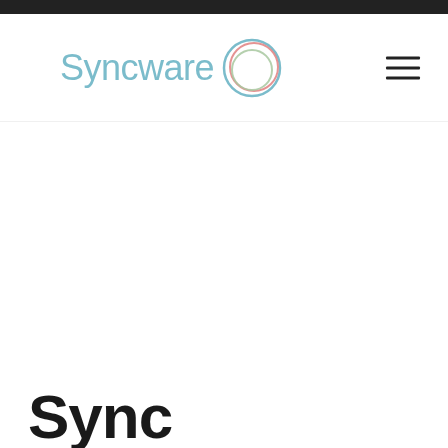[Figure (logo): Syncware logo with teal/blue text and a circular icon made of overlapping blue, red, and green rings]
Sync